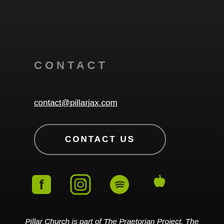CONTACT
contact@pillarjax.com
CONTACT US
[Figure (infographic): Social media icons row: Facebook, Instagram, Spotify, Apple — rendered in yellow-green/lime color]
Pillar Church is part of The Praetorian Project. The Praetorian Project is a family of Gospel centered churches near military installations worldwide. To learn more about our effort, visit